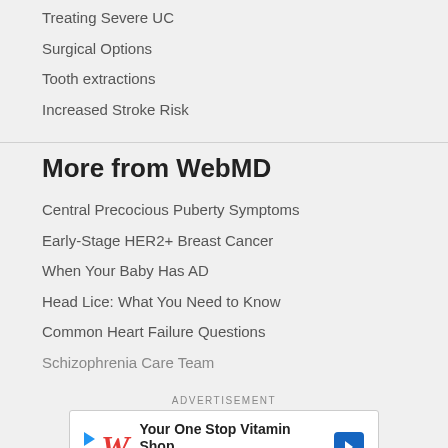Treating Severe UC
Surgical Options
Tooth extractions
Increased Stroke Risk
More from WebMD
Central Precocious Puberty Symptoms
Early-Stage HER2+ Breast Cancer
When Your Baby Has AD
Head Lice: What You Need to Know
Common Heart Failure Questions
Schizophrenia Care Team
ADVERTISEMENT
[Figure (other): Walgreens Photo advertisement banner: Your One Stop Vitamin Shop]